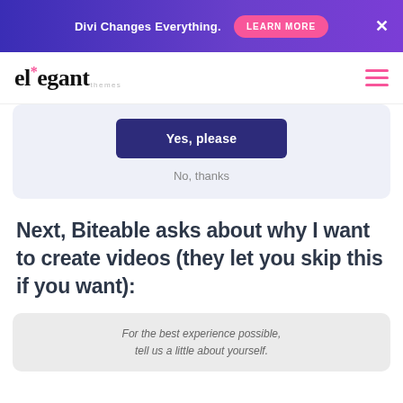Divi Changes Everything. LEARN MORE ×
[Figure (logo): Elegant Themes logo with asterisk star in pink and hamburger menu icon in pink]
Yes, please
No, thanks
Next, Biteable asks about why I want to create videos (they let you skip this if you want):
For the best experience possible, tell us a little about yourself.